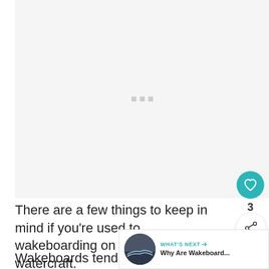[Figure (other): Advertisement placeholder with three small grey dots in the center on a light grey background]
There are a few things to keep in mind if you're used to wakeboarding on another watercraft.
Wakeboards tend to move a bit more slowly than speedboats and cannot make tight turns on a dime as